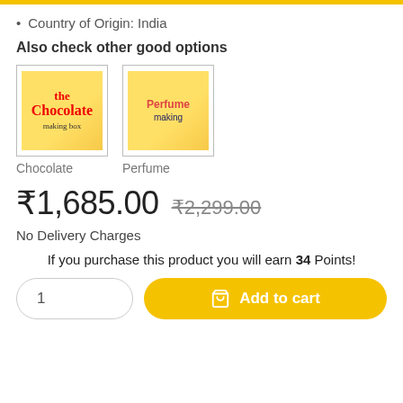Country of Origin: India
Also check other good options
[Figure (photo): Product option thumbnail: Chocolate making kit box]
Chocolate
[Figure (photo): Product option thumbnail: Perfume making kit box]
Perfume
₹1,685.00  ₹2,299.00
No Delivery Charges
If you purchase this product you will earn 34 Points!